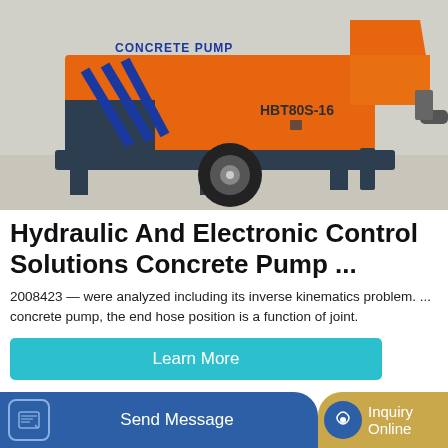[Figure (photo): Orange concrete pump truck (HBT80S-16) with blue diagonal stripes and text 'CONCRETE PUMP', parked on a concrete surface]
Hydraulic And Electronic Control Solutions Concrete Pump ...
2008423 — were analyzed including its inverse kinematics problem. ... concrete pump, the end hose position is a function of joint.